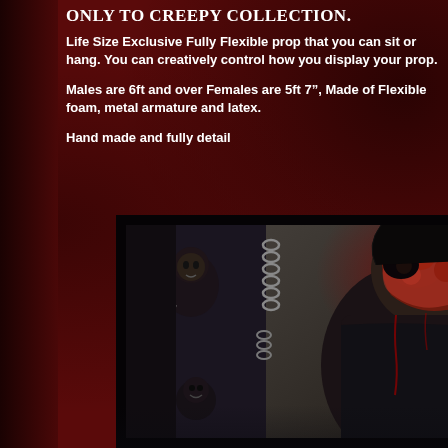ONLY TO CREEPY COLLECTION.
Life Size Exclusive Fully Flexible prop that you can sit or hang.  You can creatively control how you display your prop.
Males  are 6ft and over Females are 5ft 7", Made of Flexible foam, metal armature and latex.
Hand made and fully detail
[Figure (photo): Horror zombie/monster prop photo showing gruesome figures with chains and bloody wounds in a dark dungeon-like setting]